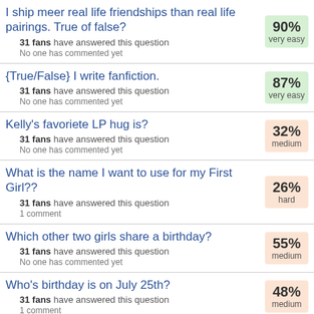I ship meer real life friendships than real life pairings. True of false? — 31 fans have answered this question. No one has commented yet. 90% very easy
{True/False} I write fanfiction. — 31 fans have answered this question. No one has commented yet. 87% very easy
Kelly's favoriete LP hug is? — 31 fans have answered this question. No one has commented yet. 32% medium
What is the name I want to use for my First Girl?? — 31 fans have answered this question. 1 comment. 26% hard
Which other two girls share a birthday? — 31 fans have answered this question. No one has commented yet. 55% medium
Who's birthday is on July 25th? — 31 fans have answered this question. 1 comment. 48% medium
True/False:Rach ships Fez/Jackie from That 70's Show — 48%